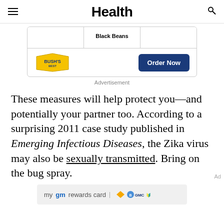Health
[Figure (screenshot): Bush's Best Beans advertisement with Black Beans product and Order Now button]
Advertisement
These measures will help protect you—and potentially your partner too. According to a surprising 2011 case study published in Emerging Infectious Diseases, the Zika virus may also be sexually transmitted. Bring on the bug spray.
[Figure (screenshot): My GM Rewards Card advertisement with Chevrolet, Buick, GMC, and Cadillac logos]